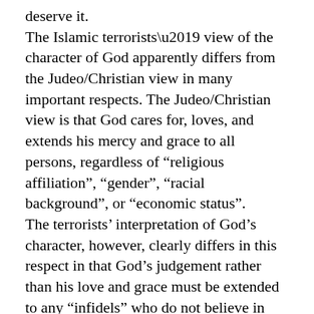deserve it. The Islamic terrorists' view of the character of God apparently differs from the Judeo/Christian view in many important respects. The Judeo/Christian view is that God cares for, loves, and extends his mercy and grace to all persons, regardless of “religious affiliation”, “gender”, “racial background”, or “economic status”. The terrorists’ interpretation of God’s character, however, clearly differs in this respect in that God’s judgement rather than his love and grace must be extended to any “infidels” who do not believe in God in the manner that the terrorists understand the Islamic faith. The point of this discussion, Eric, is that your statement “Because you really have no footing on which to gainsay the Islamic fundamentalist terrorist view that says God will reward those who lose their lives killing the American infidels.” is completely wrong. The Judeo/Christian belief in God and